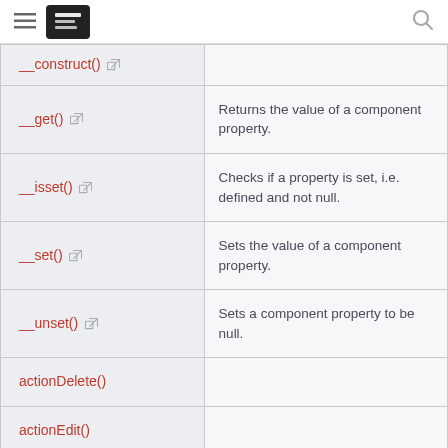Navigation header with hamburger menu, logo, and search icon
| Method | Description |
| --- | --- |
| __construct() |  |
| __get() | Returns the value of a component property. |
| __isset() | Checks if a property is set, i.e. defined and not null. |
| __set() | Sets the value of a component property. |
| __unset() | Sets a component property to be null. |
| actionDelete() |  |
| actionEdit() |  |